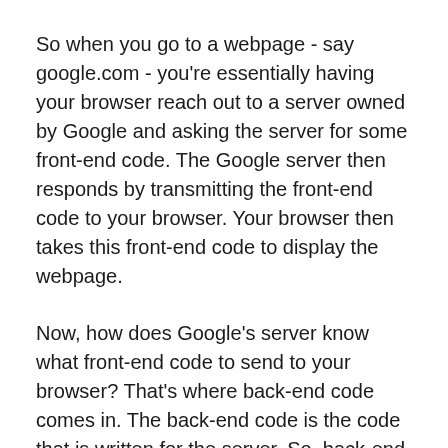So when you go to a webpage - say google.com - you're essentially having your browser reach out to a server owned by Google and asking the server for some front-end code. The Google server then responds by transmitting the front-end code to your browser. Your browser then takes this front-end code to display the webpage.
Now, how does Google's server know what front-end code to send to your browser? That's where back-end code comes in. The back-end code is the code that is written for the server. So, back-end programmers code the server so that it knows what front-end code to send to your browser. It takes some time to wrap one's head around this concept, but the main point is that back-end code is to written for the server, while front-end code is written for the browser.
But there's more. Most web applications allow a user to save information on the web. For example, if you upload a picture